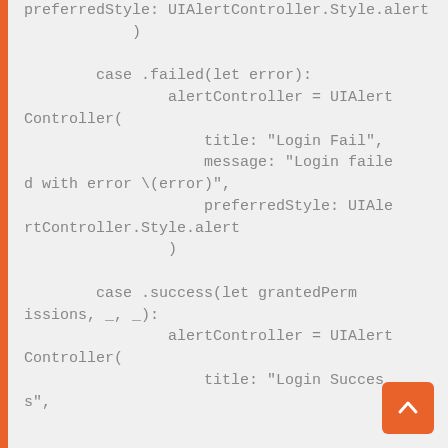[Figure (screenshot): Code snippet showing Swift UIAlertController cases for .failed and .success login handling, with orange left border and scroll-to-top button]